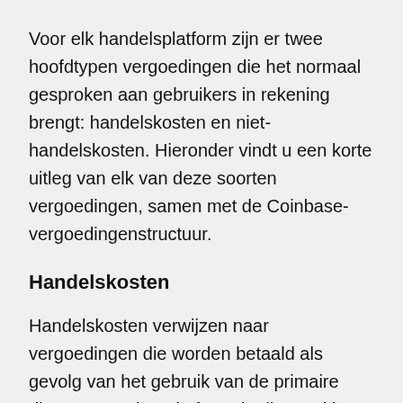Voor elk handelsplatform zijn er twee hoofdtypen vergoedingen die het normaal gesproken aan gebruikers in rekening brengt: handelskosten en niet-handelskosten. Hieronder vindt u een korte uitleg van elk van deze soorten vergoedingen, samen met de Coinbase-vergoedingenstructuur.
Handelskosten
Handelskosten verwijzen naar vergoedingen die worden betaald als gevolg van het gebruik van de primaire diensten van het platform, in dit geval het kopen en verkopen van cryptocurrencies en digitale activa. De meeste cryptocurrency-uitwisselingen brengen op twee manieren transactiekosten in rekening...